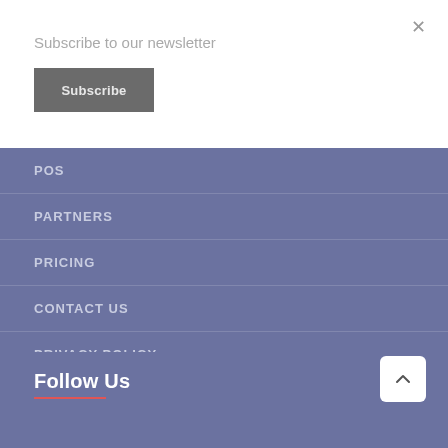Subscribe to our newsletter
Subscribe
×
POS
PARTNERS
PRICING
CONTACT US
PRIVACY POLICY
Follow Us